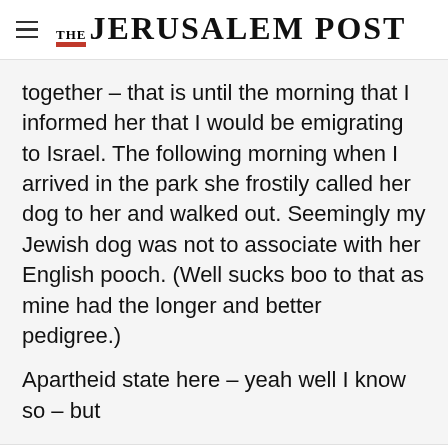THE JERUSALEM POST
together – that is until the morning that I informed her that I would be emigrating to Israel. The following morning when I arrived in the park she frostily called her dog to her and walked out. Seemingly my Jewish dog was not to associate with her English pooch. (Well sucks boo to that as mine had the longer and better pedigree.)
Apartheid state here – yeah well I know so – but
Advertisement